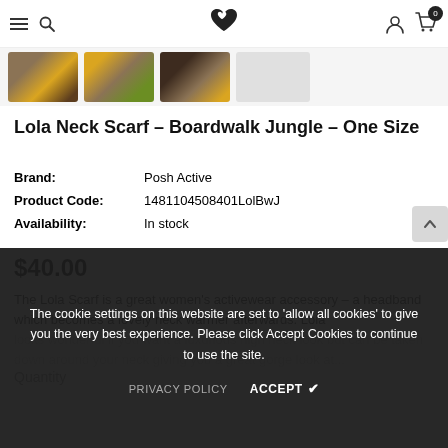Navigation bar with hamburger menu, search, logo, account icon, and cart (0)
[Figure (photo): Strip of four product thumbnail images showing a scarf in Boardwalk Jungle print (gold/dark botanical pattern); fourth thumbnail is blank/light grey]
Lola Neck Scarf – Boardwalk Jungle – One Size
| Brand: | Posh Active |
| Product Code: | 1481104508401LolBwJ |
| Availability: | In stock |
$40.00
The Lola Scarf is a great women's activewear accessory – a headband which becomes a lovely neck warmer afterwards. Lola looks wonderful if you want a luxurious high neck look but can be taken down around your neck giving you a great gorge look at...
Quantity
The cookie settings on this website are set to 'allow all cookies' to give you the very best experience. Please click Accept Cookies to continue to use the site.
PRIVACY POLICY   ACCEPT ✔